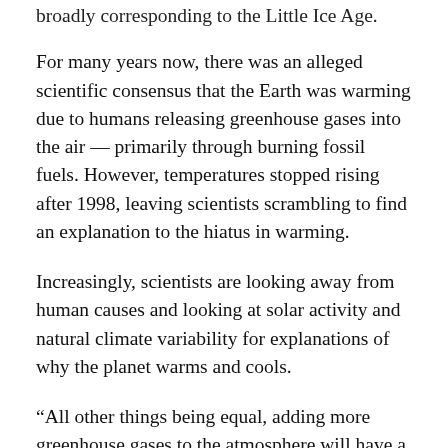broadly corresponding to the Little Ice Age.
For many years now, there was an alleged scientific consensus that the Earth was warming due to humans releasing greenhouse gases into the air — primarily through burning fossil fuels. However, temperatures stopped rising after 1998, leaving scientists scrambling to find an explanation to the hiatus in warming.
Increasingly, scientists are looking away from human causes and looking at solar activity and natural climate variability for explanations of why the planet warms and cools.
“All other things being equal, adding more greenhouse gases to the atmosphere will have a warming effect on the planet,” Judith Curry, a climatologist at the Georgia Institute of Technology, told the Los Angeles Times. “However, all things are never equal, and what we are seeing is natural climate variability dominating over